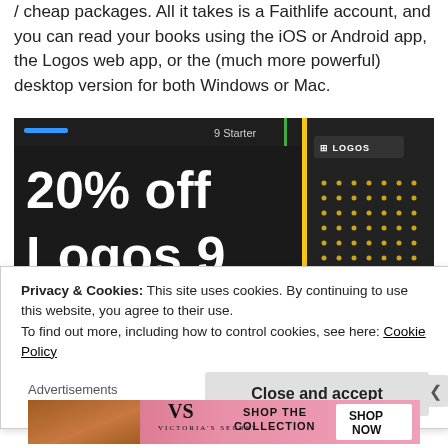/ cheap packages. All it takes is a Faithlife account, and you can read your books using the iOS or Android app, the Logos web app, or the (much more powerful) desktop version for both Windows or Mac.
[Figure (screenshot): Promotional banner for Logos 9 showing '20% off Logos 9' in large white text on a dark background, with product tier labels '9 Starter' and '9 Bronze' at top, a yellow vertical divider, and a Logos branded panel on the right with dot pattern.]
Privacy & Cookies: This site uses cookies. By continuing to use this website, you agree to their use.
To find out more, including how to control cookies, see here: Cookie Policy
Close and accept
Advertisements
[Figure (screenshot): Victoria's Secret advertisement banner showing a model on the left, VS logo and 'Victoria's Secret' brand name in center, 'SHOP THE COLLECTION' text, and a 'SHOP NOW' button on the right.]